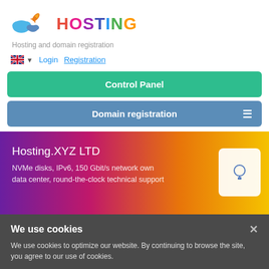[Figure (logo): Hosting.XYZ logo with cloud and rocket graphic and colorful HOSTING text]
Hosting and domain registration
Login   Registration
Control Panel
Domain registration
Hosting.XYZ LTD
NVMe disks, IPv6, 150 Gbit/s network own data center, round-the-clock technical support
We use cookies
We use cookies to optimize our website. By continuing to browse the site, you agree to our use of cookies.